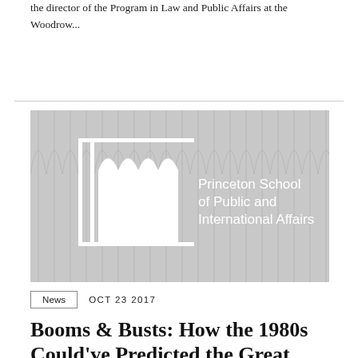the director of the Program in Law and Public Affairs at the Woodrow...
[Figure (logo): Princeton School of Public and International Affairs logo on gray background with architectural column illustration]
News   OCT 23 2017
Booms & Busts: How the 1980s Could've Predicted the Great